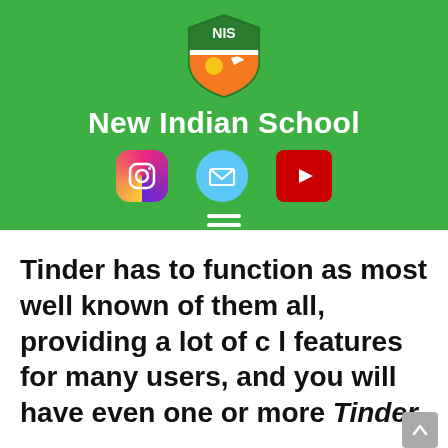[Figure (logo): NIS New Indian School shield logo with orange and green colors, sun and bird motif]
New Indian School
[Figure (infographic): Three social media icons: Instagram (gradient circle), Email (blue circle with envelope), YouTube (red rectangle with play button), and a hamburger menu icon]
Tinder has to function as most well known of them all, providing a lot of c l features for many users, and you will have even one or more Tinder